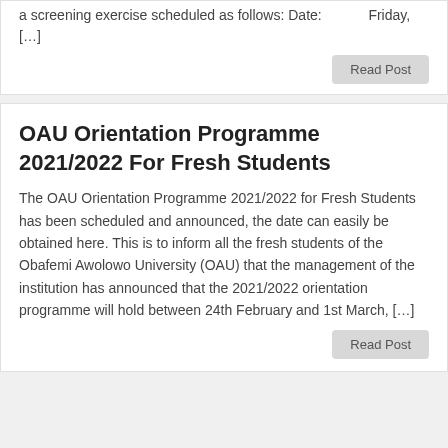a screening exercise scheduled as follows: Date:           Friday, […]
Read Post
OAU Orientation Programme 2021/2022 For Fresh Students
The OAU Orientation Programme 2021/2022 for Fresh Students has been scheduled and announced, the date can easily be obtained here. This is to inform all the fresh students of the Obafemi Awolowo University (OAU) that the management of the institution has announced that the 2021/2022 orientation programme will hold between 24th February and 1st March, […]
Read Post